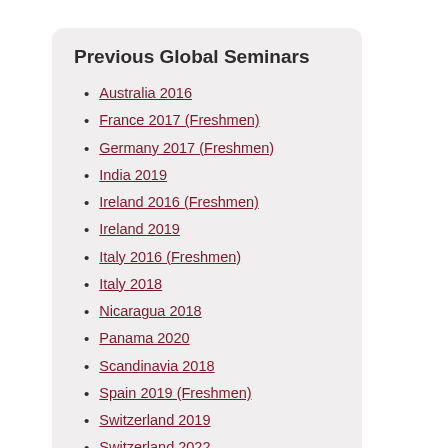Previous Global Seminars
Australia 2016
France 2017 (Freshmen)
Germany 2017 (Freshmen)
India 2019
Ireland 2016 (Freshmen)
Ireland 2019
Italy 2016 (Freshmen)
Italy 2018
Nicaragua 2018
Panama 2020
Scandinavia 2018
Spain 2019 (Freshmen)
Switzerland 2019
Switzerland 2022
Tanzania 2020